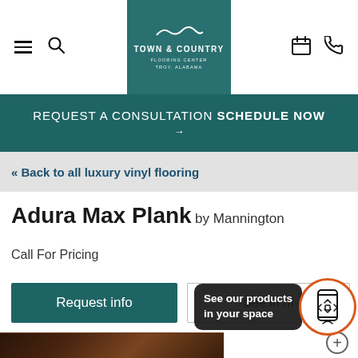[Figure (screenshot): Top navigation bar with hamburger menu, search icon, Town & Country Flooring Center logo (teal background), calendar icon, and phone icon]
REQUEST A CONSULTATION SCHEDULE NOW →
« Back to all luxury vinyl flooring
Adura Max Plank by Mannington
Call For Pricing
Request info
See in my
See our products in your space
[Figure (photo): Dark wood luxury vinyl plank flooring texture, partially visible at the bottom of the page]